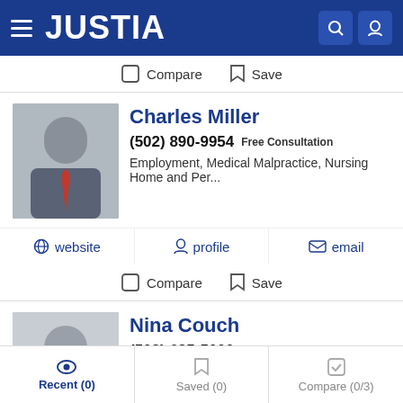JUSTIA
Compare  Save
Charles Miller
(502) 890-9954 Free Consultation
Employment, Medical Malpractice, Nursing Home and Per...
website  profile  email
Compare  Save
Nina Couch
(502) 625-5000 Free Consultation
Employment, Consumer and Personal Injury
website  profile  email
Recent (0)  Saved (0)  Compare (0/3)